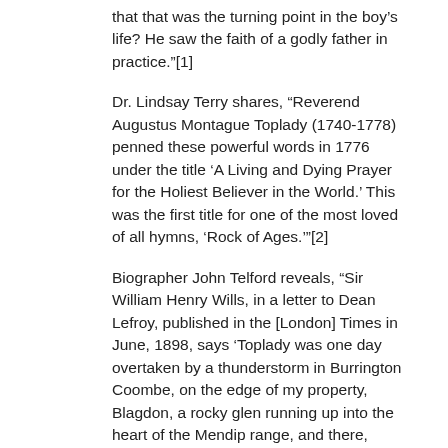that that was the turning point in the boy's life? He saw the faith of a godly father in practice."[1]
Dr. Lindsay Terry shares, “Reverend Augustus Montague Toplady (1740-1778) penned these powerful words in 1776 under the title ‘A Living and Dying Prayer for the Holiest Believer in the World.’ This was the first title for one of the most loved of all hymns, ‘Rock of Ages.’”[2]
Biographer John Telford reveals, “Sir William Henry Wills, in a letter to Dean Lefroy, published in the [London] Times in June, 1898, says ‘Toplady was one day overtaken by a thunderstorm in Burrington Coombe, on the edge of my property, Blagdon, a rocky glen running up into the heart of the Mendip range, and there, taking shelter between two massive piers of our native limestone rock, he penned the hymn, Rock of Ages, cleft for me, Let me hide myself in Thee. There is a precipitous crag of limestone a hundred feet high, and right down its centre is the deep recess in which Toplady sheltered.”[3]
We understand, “The hymn [“Rock of Ages”] was also reportedly sung at the funeral of American President